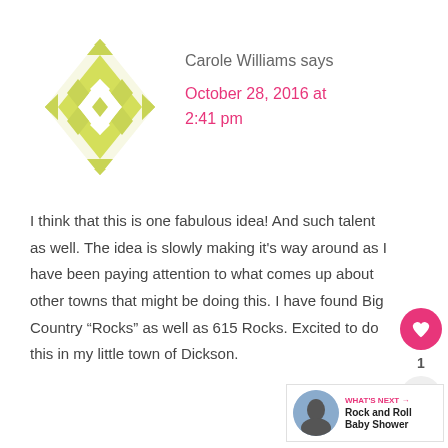[Figure (illustration): Decorative geometric quilt-pattern avatar icon in yellow-green/olive color on white background]
Carole Williams says
October 28, 2016 at 2:41 pm
I think that this is one fabulous idea! And such talent as well. The idea is slowly making it’s way around as I have been paying attention to what comes up about other towns that might be doing this. I have found Big Country “Rocks” as well as 615 Rocks. Excited to do this in my little town of Dickson.